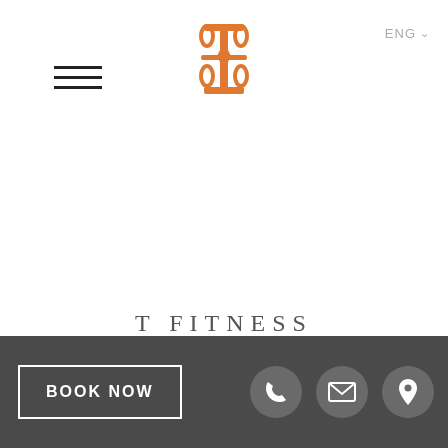[Figure (logo): Orange ornate monogram logo (T Fitness brand mark) centered at top of page]
T FITNESS
Flooded with natural light and with spectacular lake views, the new T Fitness gym offers a unique workout space. Get your heart rate up on the latest cardiovascular equipment on the first
BOOK NOW | Phone icon | Email icon | Location icon